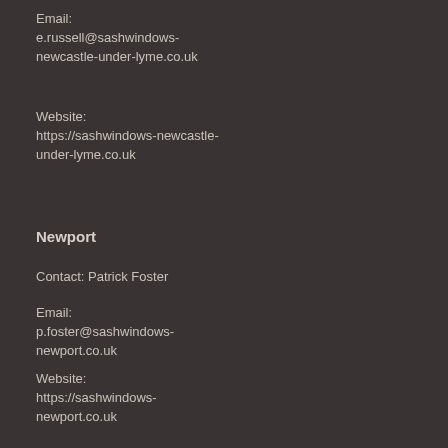Email: e.russell@sashwindows-newcastle-under-lyme.co.uk
Website: https://sashwindows-newcastle-under-lyme.co.uk
Email: p.floyd@sashwindows-newham.co.uk
Website: https://sashwindows-newham.co.uk
Newport
Contact: Patrick Foster
Email: p.foster@sashwindows-newport.co.uk
Website: https://sashwindows-newport.co.uk
Norfolk
Contact: Charles Alexander
Email: c.alexander@sashwindows-norfolk.co.uk
Website: https://sashwindows-norfolk.co.uk
Northampton